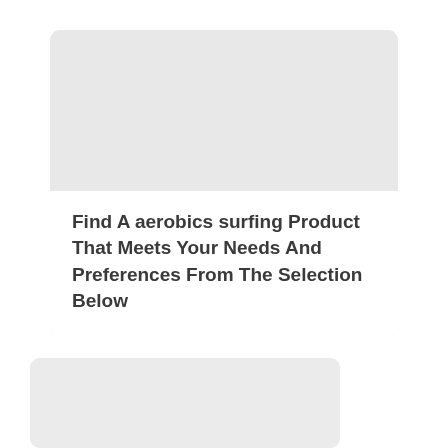[Figure (other): Gray card panel with a teal 'REVIEW' badge in the upper left and image placeholder area]
Find A aerobics surfing Product That Meets Your Needs And Preferences From The Selection Below
[Figure (other): Gray card panel with a teal 'REVIEW' badge in the upper left, partially visible at bottom of page]